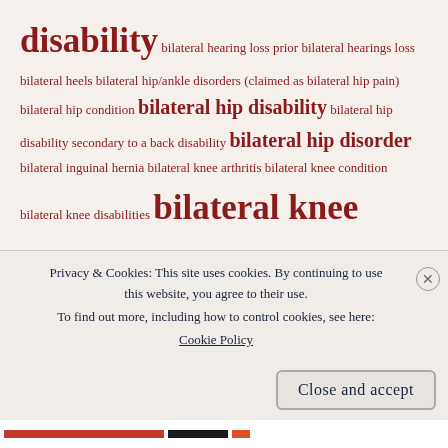disability bilateral hearing loss prior bilateral hearings loss bilateral heels bilateral hip/ankle disorders (claimed as bilateral hip pain) bilateral hip condition bilateral hip disability bilateral hip disability secondary to a back disability bilateral hip disorder bilateral inguinal hernia bilateral knee arthritis bilateral knee condition bilateral knee disabilities bilateral knee disability bilateral knee disorder bilateral knee pain bilateral knee patellofemoral syndrome disabilities bilateral knees Bilateral Knee Strain bilateral leg disability bilateral lower extremities bilateral lower extremity disability bilateral lower
Privacy & Cookies: This site uses cookies. By continuing to use this website, you agree to their use. To find out more, including how to control cookies, see here: Cookie Policy
Close and accept